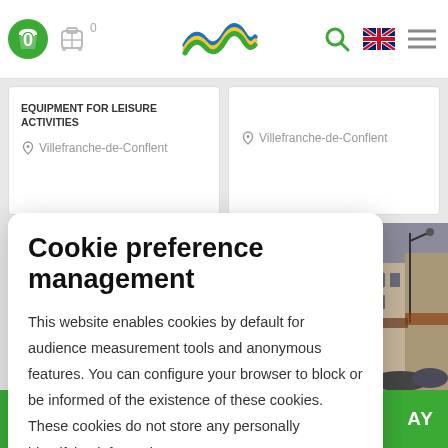[Figure (screenshot): Website navigation bar with shopping cart icon (green, badge 0), luggage icon with '0' count, colorful wave logo, search icon, UK flag icon, and hamburger menu icon]
EQUIPMENT FOR LEISURE ACTIVITIES
Villefranche-de-Conflent
Villefranche-de-Conflent
[Figure (photo): Street scene in Villefranche-de-Conflent with old buildings, street lamp, and crowd of people]
Cookie preference management
This website enables cookies by default for audience measurement tools and anonymous features. You can configure your browser to block or be informed of the existence of these cookies. These cookies do not store any personally identifying information.
Read more
No thanks
I choose
Ok for me